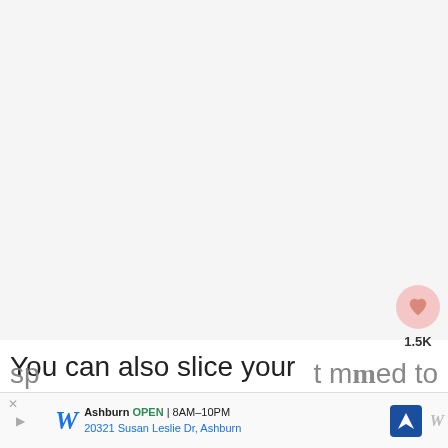[Figure (other): Large light gray/white blank area occupying the top portion of the page, likely a recipe image placeholder.]
[Figure (other): Heart/like button: pink circle with heart icon above '1.5K' count label, and a share icon below it, on the right side.]
[Figure (other): WHAT'S NEXT panel showing a circular thumbnail of cucumber sandwiches with the label 'Cucumber Sandwiches'.]
You can also slice your cucumbers any way you prefer. Rounds, spears, crinkle coins, diagonal sandwich slices, the choice is yours! Note that for sp... t need to
[Figure (other): Walgreens advertisement banner: 'Ashburn OPEN 8AM-10PM 20321 Susan Leslie Dr, Ashburn' with Walgreens logo and navigation arrow icon.]